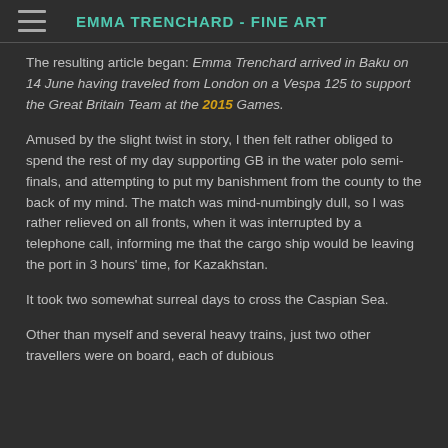EMMA TRENCHARD - FINE ART
The resulting article began: Emma Trenchard arrived in Baku on 14 June having traveled from London on a Vespa 125 to support the Great Britain Team at the 2015 Games.
Amused by the slight twist in story, I then felt rather obliged to spend the rest of my day supporting GB in the water polo semi-finals, and attempting to put my banishment from the county to the back of my mind. The match was mind-numbingly dull, so I was rather relieved on all fronts, when it was interrupted by a telephone call, informing me that the cargo ship would be leaving the port in 3 hours' time, for Kazakhstan.
It took two somewhat surreal days to cross the Caspian Sea.
Other than myself and several heavy trains, just two other travellers were on board, each of dubious